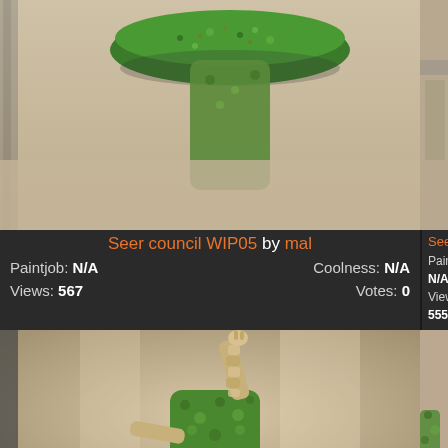[Figure (photo): Close-up photo of a painted miniature figurine on green base, top view, left panel]
[Figure (photo): Close-up photo of a painted miniature figurine, partially visible, right panel top]
Seer council WIP05 by mal
Paintjob: N/A   Coolness: N/A
Views: 567       Votes: 0
Seer c
Paintjob: N/A
Views: 555
[Figure (photo): Photo of a painted green miniature figurine with raised arm, skeletal features, bottom left panel]
[Figure (photo): Partially visible painted miniature figurine, bottom right panel]